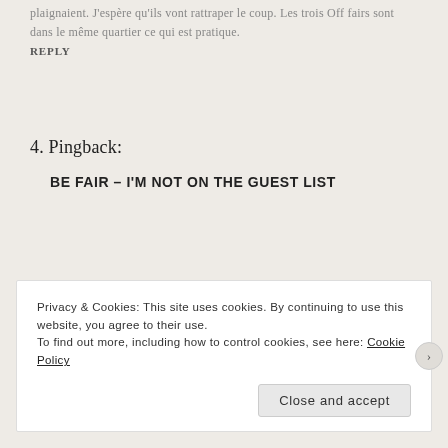plaignaient. J'espère qu'ils vont rattraper le coup. Les trois Off fairs sont dans le même quartier ce qui est pratique.
REPLY
4. Pingback:
BE FAIR – I'M NOT ON THE GUEST LIST
Privacy & Cookies: This site uses cookies. By continuing to use this website, you agree to their use.
To find out more, including how to control cookies, see here: Cookie Policy
Close and accept